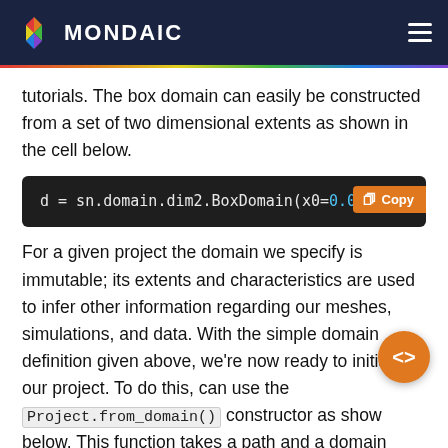MONDAIC
tutorials. The box domain can easily be constructed from a set of two dimensional extents as shown in the cell below.
[Figure (screenshot): Code block showing: d = sn.domain.dim2.BoxDomain(x0=0.0, x1=2000. with a Copy button in orange on the right side.]
For a given project the domain we specify is immutable; its extents and characteristics are used to infer other information regarding our meshes, simulations, and data. With the simple domain definition given above, we're now ready to initialize our project. To do this, can use the Project.from_domain() constructor as show below. This function takes a path and a domain object such as the one we just constructed. Calling this